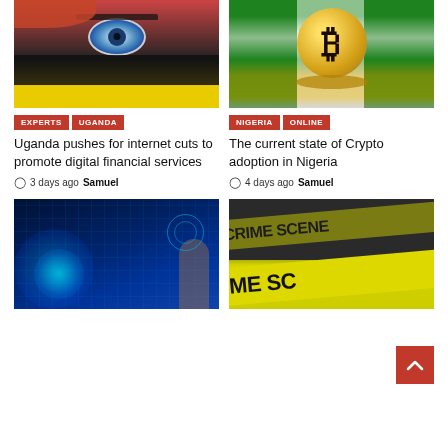[Figure (photo): Close-up photo of a woman's eye with colorful face paint, yellow and black makeup, representing Uganda colors]
EXPERTS  UGANDA
Uganda pushes for internet cuts to promote digital financial services
3 days ago Samuel
[Figure (photo): Gold Bitcoin coin in front of Nigerian flag (green and white stripes)]
NIGERIA  ONLINE
The current state of Crypto adoption in Nigeria
4 days ago Samuel
[Figure (photo): Digital technology concept with a glowing globe and a woman looking at holographic displays]
[Figure (photo): Yellow crime scene tape with bold black text 'CRIME SCENE' on dark background, with a red button overlay]